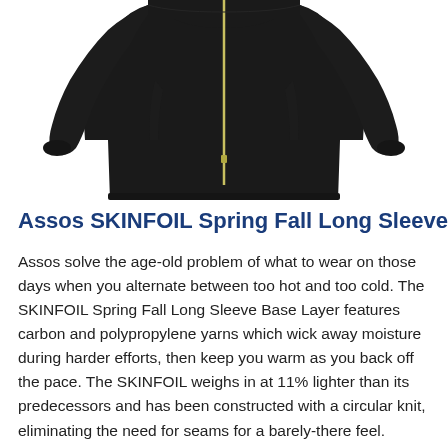[Figure (photo): Black long-sleeve cycling base layer jacket (Assos SKINFOIL Spring Fall Long Sleeve) with a thin yellow/gold zipper running vertically down the center front, displayed against a white background.]
Assos SKINFOIL Spring Fall Long Sleeve Basela
Assos solve the age-old problem of what to wear on those days when you alternate between too hot and too cold. The SKINFOIL Spring Fall Long Sleeve Base Layer features carbon and polypropylene yarns which wick away moisture during harder efforts, then keep you warm as you back off the pace. The SKINFOIL weighs in at 11% lighter than its predecessors and has been constructed with a circular knit, eliminating the need for seams for a barely-there feel.